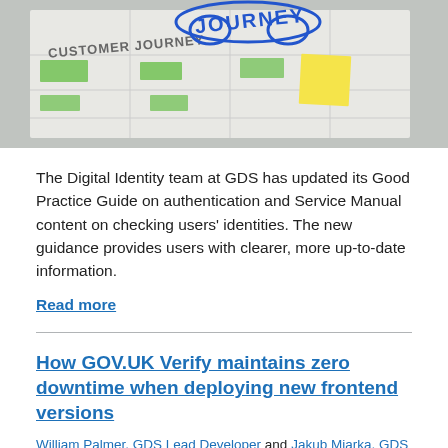[Figure (photo): Photo of a customer journey map whiteboard with blue handwritten text reading 'JOURNEY' in a cloud shape, and 'CUSTOMER JOURNEY' below it, with green sticky notes and a yellow sticky note]
The Digital Identity team at GDS has updated its Good Practice Guide on authentication and Service Manual content on checking users' identities. The new guidance provides users with clearer, more up-to-date information.
Read more
How GOV.UK Verify maintains zero downtime when deploying new frontend versions
William Palmer, GDS Lead Developer and Jakub Miarka, GDS Developer and Tech Lead, 10 April 2019 - GOV.UK Verify
[Figure (photo): Partial photo of a document or card with small text]